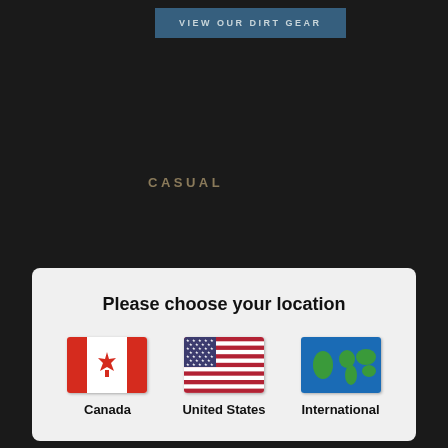[Figure (screenshot): Blue button labeled VIEW OUR DIRT GEAR]
CASUAL
[Figure (screenshot): Location chooser modal with Canada, United States, and International options with flag icons]
© 2022 Strikt Gear Company  Strikt Gear Company  All rights reserved. Privacy/Terms
[Figure (other): Facebook and Instagram social media icons]